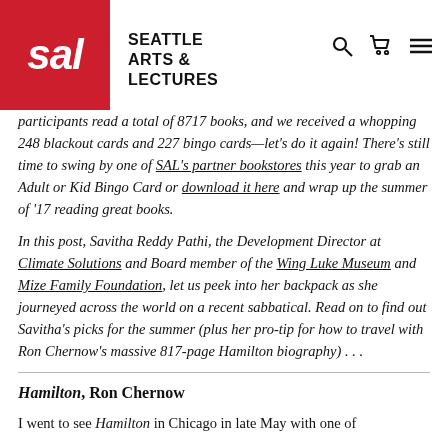SAL — Seattle Arts & Lectures
participants read a total of 8717 books, and we received a whopping 248 blackout cards and 227 bingo cards—let's do it again! There's still time to swing by one of SAL's partner bookstores this year to grab an Adult or Kid Bingo Card or download it here and wrap up the summer of '17 reading great books.
In this post, Savitha Reddy Pathi, the Development Director at Climate Solutions and Board member of the Wing Luke Museum and Mize Family Foundation, let us peek into her backpack as she journeyed across the world on a recent sabbatical. Read on to find out Savitha's picks for the summer (plus her pro-tip for how to travel with Ron Chernow's massive 817-page Hamilton biography) . . .
Hamilton, Ron Chernow
I went to see Hamilton in Chicago in late May with one of